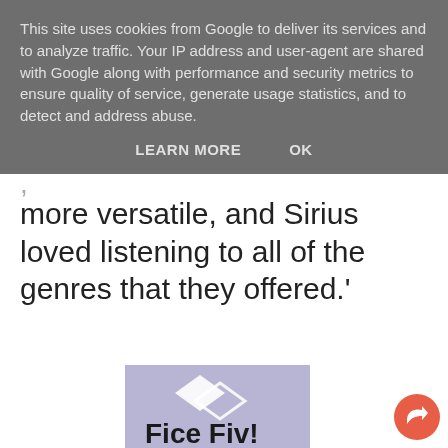This site uses cookies from Google to deliver its services and to analyze traffic. Your IP address and user-agent are shared with Google along with performance and security metrics to ensure quality of service, generate usage statistics, and to detect and address abuse.
LEARN MORE   OK
more versatile, and Sirius loved listening to all of the genres that they offered.'
[Figure (screenshot): Partial view of an advertisement with purple background showing bold text 'Fice Fiv!' with white diamond/arrow shapes]